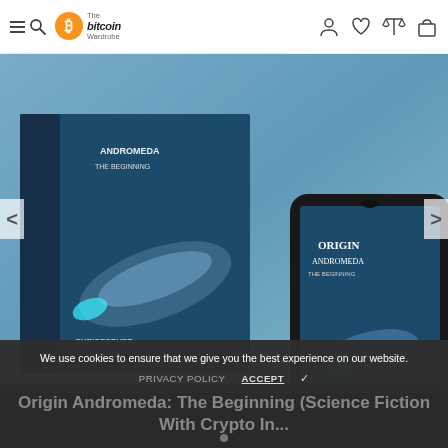The Bitcoin Wardrobe - navigation header with hamburger menu, search, logo, user icon, wishlist icon, compare icon, cart icon
[Figure (photo): Product image showing Origin Andromeda: The Beginning book set - a physical box set on the left, a smartphone in the center displaying the ebook cover, and a Kindle device on the right. All show a science fiction cover with a spaceship against a blue space background. Text on covers reads 'ANDROMEDA THE BEGINNING', 'ORIGIN ANDROMEDA', 'CHRISTOPHER V. JONES'.]
We use cookies to ensure that we give you the best experience on our website.
PRIVACY POLICY    ACCEPT ✓
Origin Andromeda: The Beginning (Science Fiction With Crypto In...